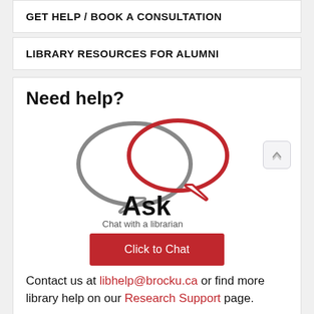GET HELP / BOOK A CONSULTATION
LIBRARY RESOURCES FOR ALUMNI
Need help?
[Figure (logo): Ask Chat with a librarian logo — two overlapping speech bubbles (grey and red) with 'Ask' in bold black text and 'Chat with a librarian' subtitle]
Click to Chat
Contact us at libhelp@brocku.ca or find more library help on our Research Support page.